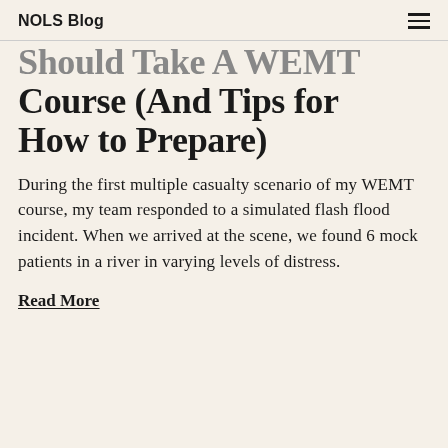NOLS Blog
Should Take A WEMT Course (And Tips for How to Prepare)
During the first multiple casualty scenario of my WEMT course, my team responded to a simulated flash flood incident. When we arrived at the scene, we found 6 mock patients in a river in varying levels of distress.
Read More